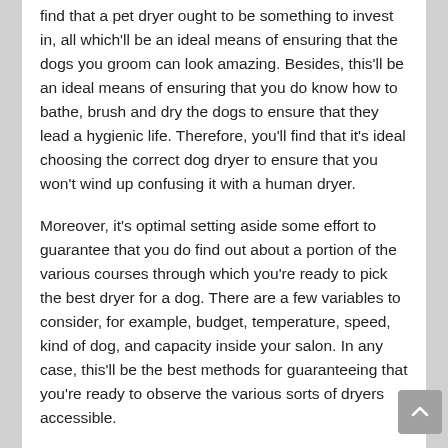find that a pet dryer ought to be something to invest in, all which'll be an ideal means of ensuring that the dogs you groom can look amazing. Besides, this'll be an ideal means of ensuring that you do know how to bathe, brush and dry the dogs to ensure that they lead a hygienic life. Therefore, you'll find that it's ideal choosing the correct dog dryer to ensure that you won't wind up confusing it with a human dryer.
Moreover, it's optimal setting aside some effort to guarantee that you do find out about a portion of the various courses through which you're ready to pick the best dryer for a dog. There are a few variables to consider, for example, budget, temperature, speed, kind of dog, and capacity inside your salon. In any case, this'll be the best methods for guaranteeing that you're ready to observe the various sorts of dryers accessible.
In this manner, before you continue with the buy, it's fitting leading some exploration to appreciate